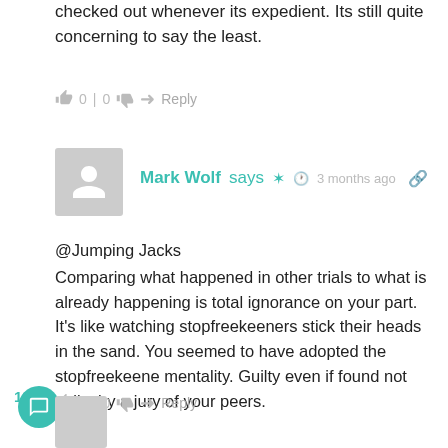checked out whenever its expedient. Its still quite concerning to say the least.
0 | 0  Reply
Mark Wolf says  3 months ago
@Jumping Jacks
Comparing what happened in other trials to what is already happening is total ignorance on your part. It's like watching stopfreekeeners stick their heads in the sand. You seemed to have adopted the stopfreekeene mentality. Guilty even if found not guilty by a jury of your peers.
120  0 | 0  Reply